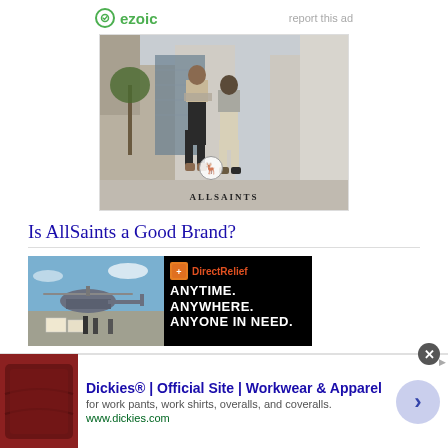[Figure (logo): Ezoic logo with green circle icon and 'report this ad' text on the right]
[Figure (photo): AllSaints advertisement showing two men in stylish urban clothing standing on a city street, with ALLSAINTS branding at the bottom]
Is AllSaints a Good Brand?
[Figure (photo): Helicopter loading cargo on tarmac advertisement image]
[Figure (infographic): DirectRelief advertisement: orange shield logo, 'ANYTIME. ANYWHERE. ANYONE IN NEED.' in white text on black background]
[Figure (photo): Dickies footer advertisement with leather seat thumbnail, title 'Dickies® | Official Site | Workwear & Apparel', description 'for work pants, work shirts, overalls, and coveralls.', url 'www.dickies.com', close button and forward navigation button]